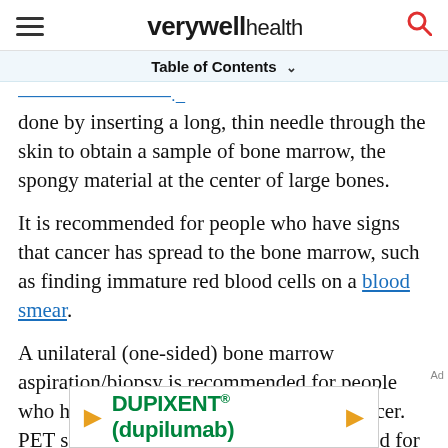verywell health
Table of Contents
done by inserting a long, thin needle through the skin to obtain a sample of bone marrow, the spongy material at the center of large bones.
It is recommended for people who have signs that cancer has spread to the bone marrow, such as finding immature red blood cells on a blood smear.
A unilateral (one-sided) bone marrow aspiration/biopsy is recommended for people who have limited stage small cell lung cancer. PET scans, however, have replaced the need for a bone marrow biopsy in some cases.[1]
[Figure (other): DUPIXENT (dupilumab) advertisement banner with orange arrows]